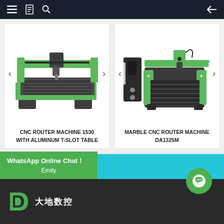Navigation bar with menu, book, search icons and back arrow
[Figure (photo): CNC Router Machine 1530 with Aluminum T-Slot Table — green and dark grey CNC router machine with large flat bed, photographed on white background]
CNC ROUTER MACHINE 1530
WITH ALUMINUM T-SLOT TABLE
[Figure (photo): Marble CNC Router Machine DA1325M — green and black CNC router machine with enclosed frame and vertical column, photographed on white background]
MARBLE CNC ROUTER MACHINE
DA1325M
WhatsApp Online Chat！
Emily
[Figure (logo): Company logo: green stylized D letter with Chinese characters 大地数控]